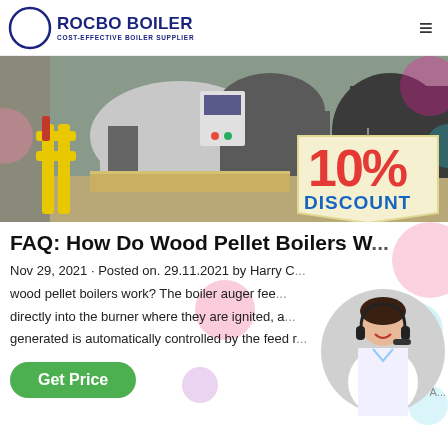[Figure (logo): Rocbo Boiler logo with crescent moon/C icon and text 'ROCBO BOILER / COST-EFFECTIVE BOILER SUPPLIER' in dark blue]
[Figure (photo): Industrial boiler installation photo showing large cylindrical boilers with yellow pipes and fittings in a facility, with a 10% DISCOUNT promotional overlay badge]
FAQ: How Do Wood Pellet Boilers W...
Nov 29, 2021 · Posted on. 29.11.2021 by Harry C... wood pellet boilers work? The boiler auger fee... directly into the burner where they are ignited, a... generated is automatically controlled by the feed r... A...